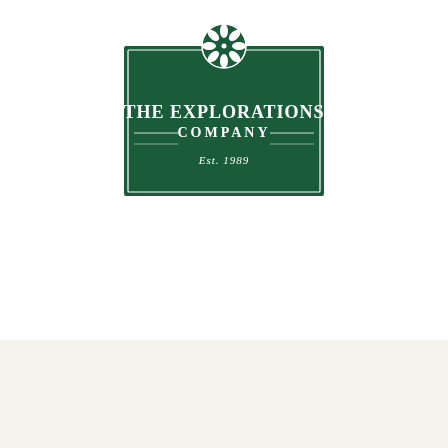[Figure (logo): The Explorations Company logo — dark green rectangular badge with ornamental snowflake/flower emblem at top center, white serif text reading 'THE EXPLORATIONS COMPANY' with 'Est. 1989' below, decorative horizontal rules flanking 'COMPANY']
Home ▶ Media Libraries ▶ Blog